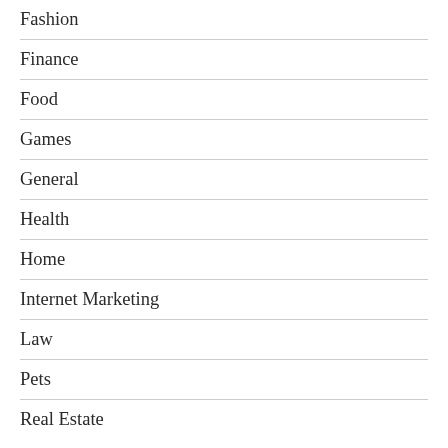Fashion
Finance
Food
Games
General
Health
Home
Internet Marketing
Law
Pets
Real Estate